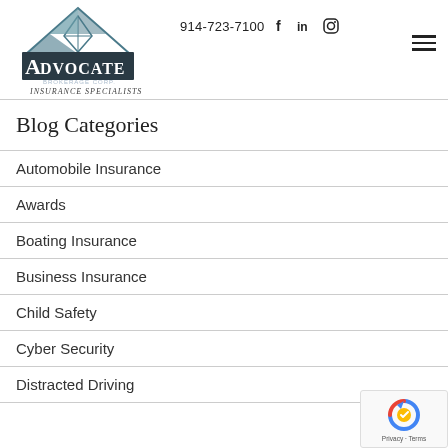914-723-7100  f  in  (Instagram icon)
[Figure (logo): Advocate Brokerage Corp — Insurance Specialists logo with triangle/diamond roof graphic]
Blog Categories
Automobile Insurance
Awards
Boating Insurance
Business Insurance
Child Safety
Cyber Security
Distracted Driving